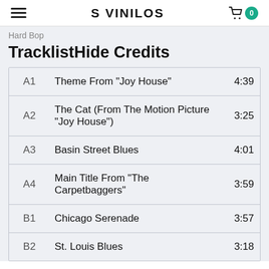S VINILOS
Hard Bop
TracklistHide Credits
| Track | Title | Duration |
| --- | --- | --- |
| A1 | Theme From "Joy House" | 4:39 |
| A2 | The Cat (From The Motion Picture "Joy House") | 3:25 |
| A3 | Basin Street Blues | 4:01 |
| A4 | Main Title From "The Carpetbaggers" | 3:59 |
| B1 | Chicago Serenade | 3:57 |
| B2 | St. Louis Blues | 3:18 |